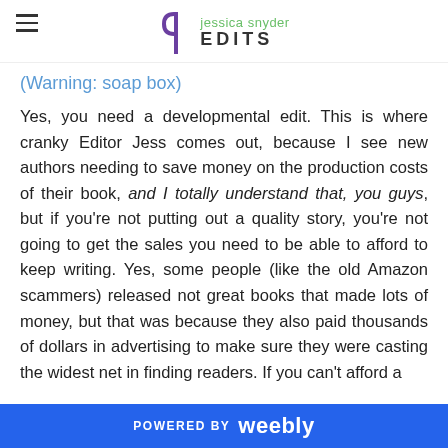jessica snyder EDITS
(Warning: soap box)
Yes, you need a developmental edit. This is where cranky Editor Jess comes out, because I see new authors needing to save money on the production costs of their book, and I totally understand that, you guys, but if you’re not putting out a quality story, you’re not going to get the sales you need to be able to afford to keep writing. Yes, some people (like the old Amazon scammers) released not great books that made lots of money, but that was because they also paid thousands of dollars in advertising to make sure they were casting the widest net in finding readers. If you can’t afford a
POWERED BY weebly